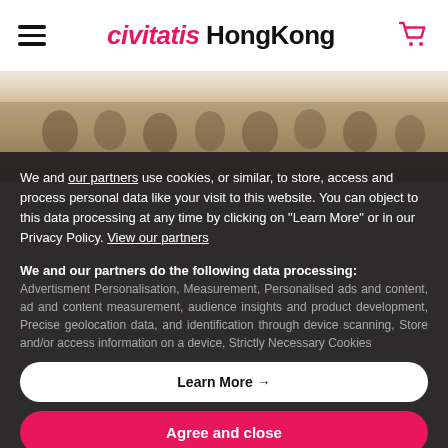civitatis HongKong
[Figure (photo): Background photo showing a group of people in a historical painting style]
We and our partners use cookies, or similar, to store, access and process personal data like your visit to this website. You can object to this data processing at any time by clicking on "Learn More" or in our Privacy Policy. View our partners
We and our partners do the following data processing: Advertisment Personalisation, Measurement, Personalised ads and content, ad and content measurement, audience insights and product development, Precise geolocation data, and identification through device scanning, Store and/or access information on a device, Strictly Necessary Cookies
Learn More →
Agree and close